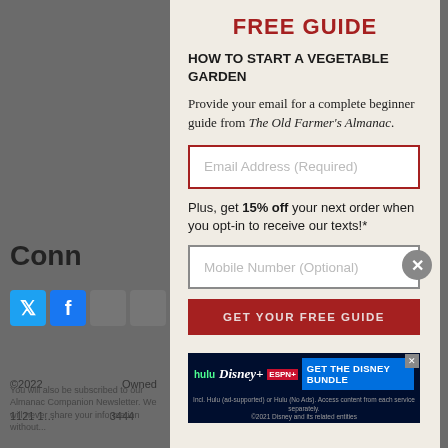FREE GUIDE
HOW TO START A VEGETABLE GARDEN
Provide your email for a complete beginner guide from The Old Farmer's Almanac.
Email Address (Required)
Plus, get 15% off your next order when you opt-in to receive our texts!*
Mobile Number (Optional)
GET YOUR FREE GUIDE
[Figure (screenshot): Disney Bundle advertisement banner showing Hulu, Disney+, ESPN+ logos and 'GET THE DISNEY BUNDLE' button]
Conn...
©2022 ... Owned
1121 1... ...3444
You will also be subscribed to our Almanac Companion Newsletter. We will never share your information without...